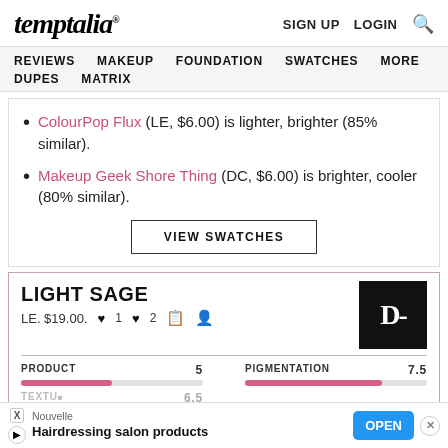temptalia® SIGN UP LOGIN 🔍
REVIEWS MAKEUP FOUNDATION SWATCHES MORE DUPES MATRIX
ColourPop Flux (LE, $6.00) is lighter, brighter (85% similar).
Makeup Geek Shore Thing (DC, $6.00) is brighter, cooler (80% similar).
VIEW SWATCHES
LIGHT SAGE
LE. $19.00.
PRODUCT 5 PIGMENTATION 7.5